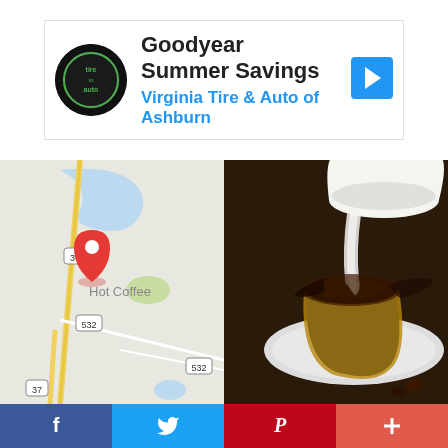[Figure (screenshot): Advertisement banner: Goodyear Summer Savings - Virginia Tire & Auto of Ashburn, with logo and arrow icon]
[Figure (map): Google Maps view showing Hot Coffee location with red pin marker, roads 37 and 532]
[Figure (photo): Close-up photo of milk being poured into a dark coffee cup on a saucer]
[Figure (infographic): Social media sharing bar with Facebook, Twitter, Pinterest, and plus buttons]